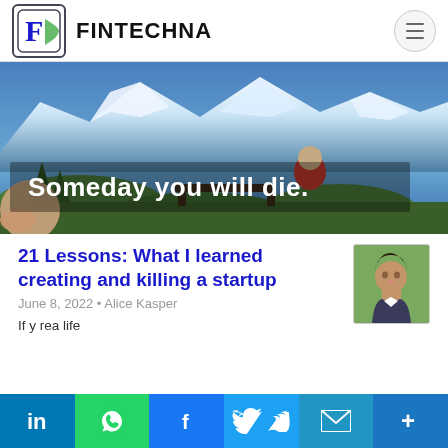FINTECHNA
[Figure (photo): A person in red clothing sitting on a bench facing snow-capped mountains, with text overlay reading 'Someday you will die.' — shown as a postcard or flyer being held by a hand.]
21 Lessons: What I learned creating and killing a startup
[Figure (photo): Author headshot: a woman with dark hair, wearing a dark blazer, photographed outdoors.]
June 8, 2022 • Alice Kasper
If y... rea... life